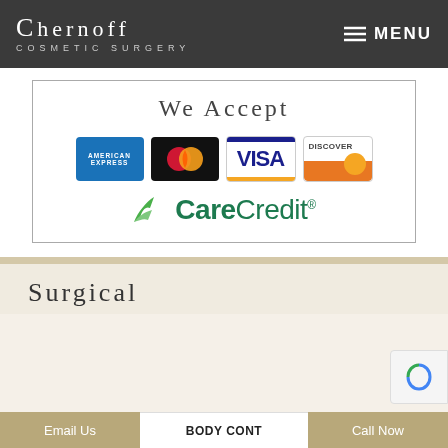Chernoff Cosmetic Surgery | MENU
[Figure (logo): We Accept payment methods box showing American Express, Mastercard, Visa, Discover, and CareCredit logos]
Surgical
Email Us | BODY CONT... | Call Now